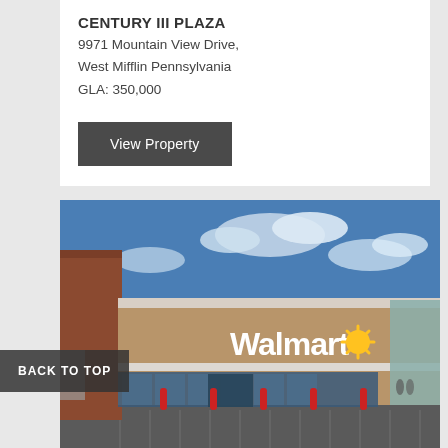CENTURY III PLAZA
9971 Mountain View Drive,
West Mifflin Pennsylvania
GLA: 350,000
View Property
[Figure (photo): Exterior photo of a Walmart store at Century III Plaza, showing the tan/khaki facade with large Walmart logo and spark symbol, brick tower on the left, glass storefront entrance, red bollards in the parking area, blue sky with clouds in the background.]
BACK TO TOP